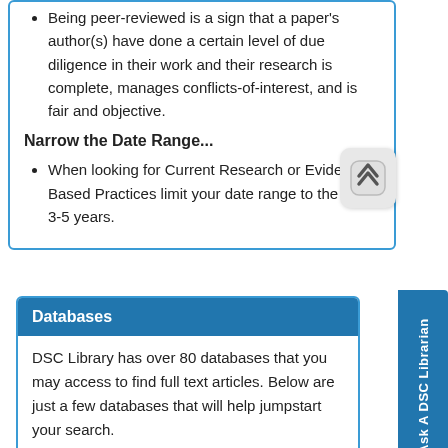Being peer-reviewed is a sign that a paper's author(s) have done a certain level of due diligence in their work and their research is complete, manages conflicts-of-interest, and is fair and objective.
Narrow the Date Range...
When looking for Current Research or Evidence-Based Practices limit your date range to the last 3-5 years.
Databases
DSC Library has over 80 databases that you may access to find full text articles. Below are just a few databases that will help jumpstart your search.
Note: Login in the SSO option using your DSC Email and Password.